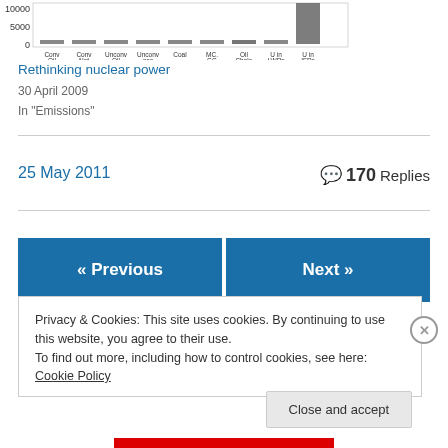[Figure (other): Partial bar chart showing energy resources (Conv Oil, Conv Nat, Unconverted Oil, Unconverted gas, Coal, MC. GG, Oil Shale, U in LWRs, U in IFRs) with y-axis showing values 0 and 5000]
Rethinking nuclear power
30 April 2009
In "Emissions"
25 May 2011
170 Replies
« Previous
Next »
Privacy & Cookies: This site uses cookies. By continuing to use this website, you agree to their use.
To find out more, including how to control cookies, see here: Cookie Policy
Close and accept